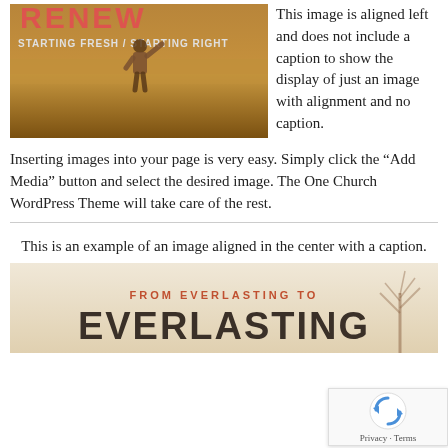[Figure (illustration): Book/sermon series cover image titled RENEW: STARTING FRESH / STARTING RIGHT, showing a person standing in a wheat field with arms raised]
This image is aligned left and does not include a caption to show the display of just an image with alignment and no caption.
Inserting images into your page is very easy. Simply click the “Add Media” button and select the desired image. The One Church WordPress Theme will take care of the rest.
This is an example of an image aligned in the center with a caption.
[Figure (illustration): Book cover image: FROM EVERLASTING TO EVERLASTING, partial view showing title text on a light background with a tree silhouette]